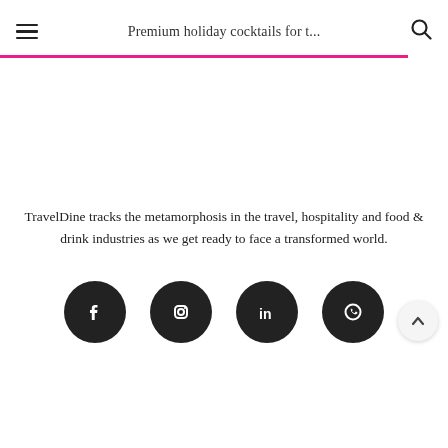Premium holiday cocktails for t...
TravelDine tracks the metamorphosis in the travel, hospitality and food & drink industries as we get ready to face a transformed world.
[Figure (illustration): Row of four social media icons (Facebook, Instagram, LinkedIn, WhatsApp) as white icons on dark circular backgrounds, plus a back-to-top arrow button]